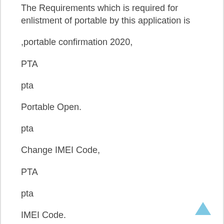The Requirements which is required for enlistment of portable by this application is
,portable confirmation 2020,
PTA
pta
Portable Open.
pta
Change IMEI Code,
PTA
pta
IMEI Code.
Portable Free Verification